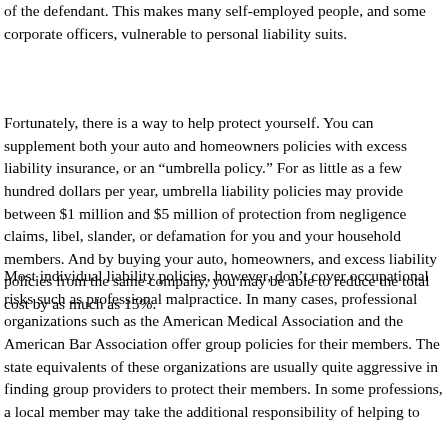of the defendant. This makes many self-employed people, and some corporate officers, vulnerable to personal liability suits.
Fortunately, there is a way to help protect yourself. You can supplement both your auto and homeowners policies with excess liability insurance, or an “umbrella policy.” For as little as a few hundred dollars per year, umbrella liability policies may provide between $1 million and $5 million of protection from negligence claims, libel, slander, or defamation for you and your household members. And by buying your auto, homeowners, and excess liability policies from the same company, you may be able to reduce the total cost by as much as 15%.
Most individual liability policies, however, don’t cover occupational risks such as professional malpractice. In many cases, professional organizations such as the American Medical Association and the American Bar Association offer group policies for their members. The state equivalents of these organizations are usually quite aggressive in finding group providers to protect their members. In some professions, a local member may take the additional responsibility of helping to